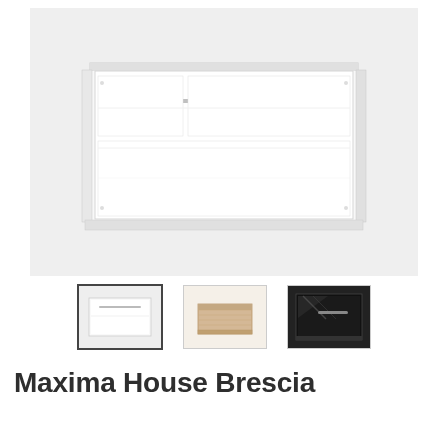[Figure (photo): Main product photo of Maxima House Brescia wall bed/murphy bed in white high gloss finish, shown in closed/upright position as a cabinet unit]
[Figure (photo): Thumbnail 1 (selected): white gloss wall bed closed view]
[Figure (photo): Thumbnail 2: natural oak/wood finish wall bed]
[Figure (photo): Thumbnail 3: dark/black finish wall bed open view]
Maxima House Brescia